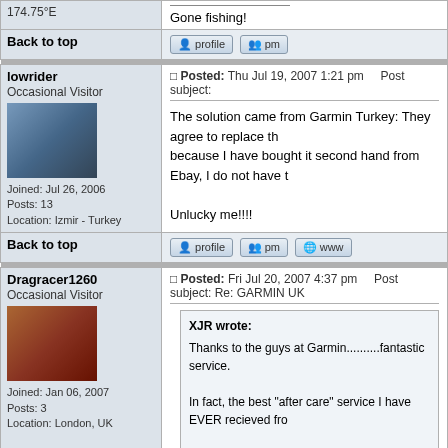174.75°E
Gone fishing!
Back to top
lowrider
Occasional Visitor
Joined: Jul 26, 2006
Posts: 13
Location: Izmir - Turkey
Posted: Thu Jul 19, 2007 1:21 pm   Post subject:
The solution came from Garmin Turkey: They agree to replace th... because I have bought it second hand from Ebay, I do not have t...

Unlucky me!!!!
Back to top
Dragracer1260
Occasional Visitor
Joined: Jan 06, 2007
Posts: 3
Location: London, UK
Posted: Fri Jul 20, 2007 4:37 pm   Post subject: Re: GARMIN UK
XJR wrote:
Thanks to the guys at Garmin..........fantastic service.

In fact, the best "after care" service I have EVER recieved fro...

I will not go elsewhere when the time comes to upgrade my n...

Thank you very very much.